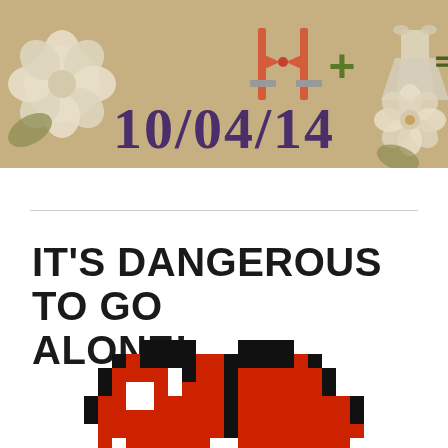[Figure (illustration): Wedding save-the-date banner with kraft paper background, floral decorations, icons of tuxedo plus wedding dress equals sign, and date 10/04/14 in large purple bold text]
IT'S DANGEROUS TO GO ALONE!
[Figure (illustration): Pixel art character face (8-bit style) in red, black and white colors, resembling a retro video game character]